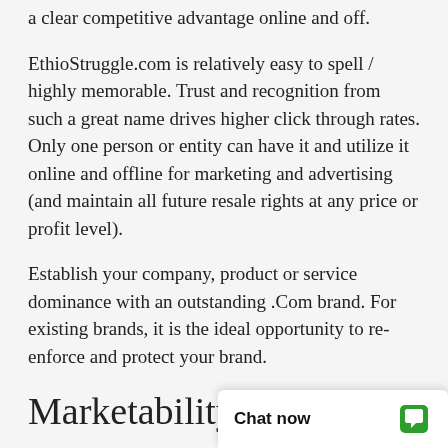a clear competitive advantage online and off.
EthioStruggle.com is relatively easy to spell / highly memorable. Trust and recognition from such a great name drives higher click through rates. Only one person or entity can have it and utilize it online and offline for marketing and advertising (and maintain all future resale rights at any price or profit level).
Establish your company, product or service dominance with an outstanding .Com brand. For existing brands, it is the ideal opportunity to re-enforce and protect your brand.
Marketability
This is an exciting long term branding opportunity
Historically, exact m…
higher in relevancy f…